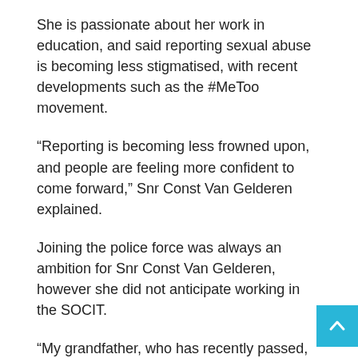She is passionate about her work in education, and said reporting sexual abuse is becoming less stigmatised, with recent developments such as the #MeToo movement.
“Reporting is becoming less frowned upon, and people are feeling more confident to come forward,” Snr Const Van Gelderen explained.
Joining the police force was always an ambition for Snr Const Van Gelderen, however she did not anticipate working in the SOCIT.
“My grandfather, who has recently passed, was a member, so it’s sort of a family business,” she said. Working in this line of policing was something that came about organically for Snr Const Van Gelderen.